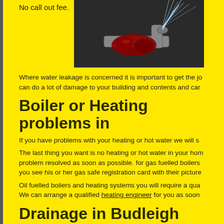No call out fee.
[Figure (photo): A gloved hand holding a burst pipe spraying water]
Where water leakage is concerned it is important to get the jo can do a lot of damage to your building and contents and car
Boiler or Heating problems in
If you have problems with your heating or hot water we will s
The last thing you want is no heating or hot water in your hom problem resolved as soon as possible. for gas fuelled boilers you see his or her gas safe registration card with their picture
Oil fuelled boilers and heating systems you will require a qua We can arrange a qualified heating engineer for you as soon
Drainage in Budleigh
Whatever the problem you have with your drainage, we'll tak